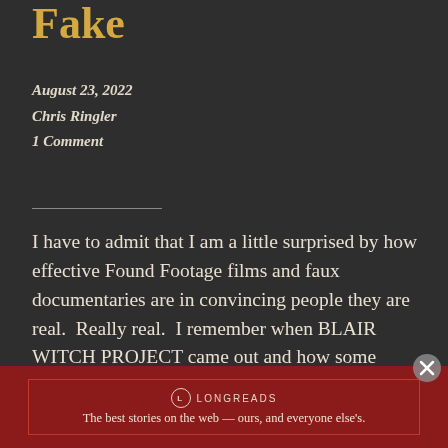Fake
August 23, 2022
Chris Ringler
1 Comment
I have to admit that I am a little surprised by how effective Found Footage films and faux documentaries are in convincing people they are real.  Really real.  I remember when BLAIR WITCH PROJECT came out and how some people were outraged that such a film could be released. They wondered how some company,
[Figure (logo): Longreads advertisement banner: red background with Longreads logo and tagline 'The best stories on the web — ours, and everyone else's.']